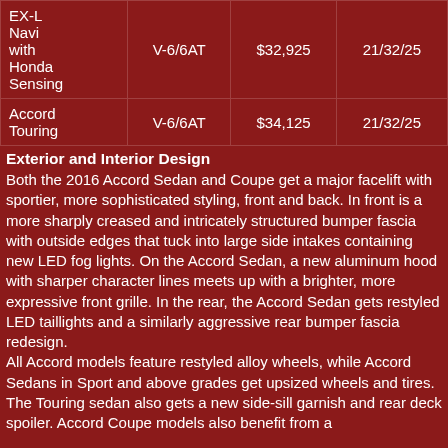| Model | Engine/Trans | Price | EPA Fuel Economy (city/hwy/combined) |
| --- | --- | --- | --- |
| EX-L Navi with Honda Sensing | V-6/6AT | $32,925 | 21/32/25 |
| Accord Touring | V-6/6AT | $34,125 | 21/32/25 |
Exterior and Interior Design
Both the 2016 Accord Sedan and Coupe get a major facelift with sportier, more sophisticated styling, front and back. In front is a more sharply creased and intricately structured bumper fascia with outside edges that tuck into large side intakes containing new LED fog lights. On the Accord Sedan, a new aluminum hood with sharper character lines meets up with a brighter, more expressive front grille. In the rear, the Accord Sedan gets restyled LED taillights and a similarly aggressive rear bumper fascia redesign.
All Accord models feature restyled alloy wheels, while Accord Sedans in Sport and above grades get upsized wheels and tires. The Touring sedan also gets a new side-sill garnish and rear deck spoiler. Accord Coupe models also benefit from a